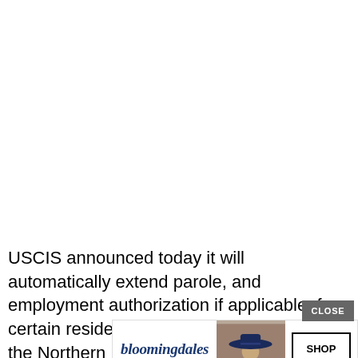USCIS announced today it will automatically extend parole, and employment authorization if applicable, for certain residents of the Commonwealth of the Northern Mariana Islands who may qualify for humanitarian relief while USCIS processes new
[Figure (other): Bloomingdale's advertisement banner with logo, 'View Today's Top Deals!' tagline, photo of woman in wide-brim hat, and 'SHOP NOW >' button. A 'CLOSE' button appears in the top-right corner of the ad.]